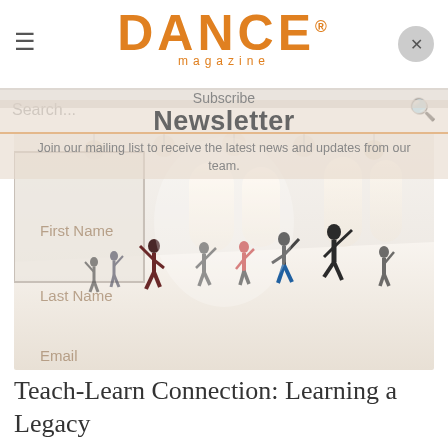DANCE® magazine
Subscribe
Newsletter
Join our mailing list to receive the latest news and updates from our team.
Search...
[Figure (photo): Dance class in a bright studio with arched windows. Many dancers in various colorful outfits are practicing with arms raised and bodies in expressive poses. Large mirrors on the left wall reflect the class.]
First Name
Last Name
Email
Teach-Learn Connection: Learning a Legacy